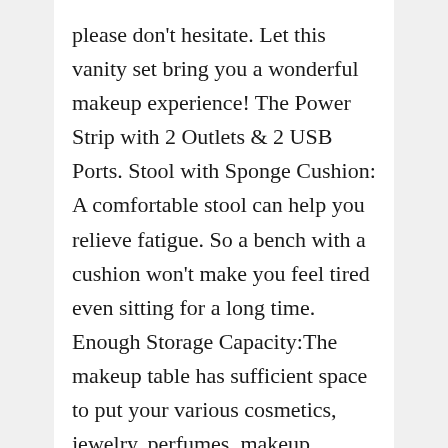please don't hesitate. Let this vanity set bring you a wonderful makeup experience! The Power Strip with 2 Outlets & 2 USB Ports. Stool with Sponge Cushion: A comfortable stool can help you relieve fatigue. So a bench with a cushion won't make you feel tired even sitting for a long time. Enough Storage Capacity:The makeup table has sufficient space to put your various cosmetics, jewelry, perfumes, makeup brushes, etc. Full View: HD Tri-fold Mirror gives you a full view to check your hair and makeup. Safe Design: There is a strap on the back of the table that can be nailed to the wall to prevent the vanity from being accidentally bumped. Power Strip with 2 Outlets & 2 USB Ports. 3 Dividers in The Middle Drawer. Three dividers keep your makeup or other items organized. (Please...